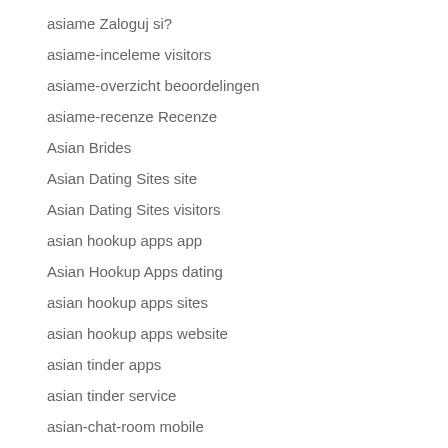asiame Zaloguj si?
asiame-inceleme visitors
asiame-overzicht beoordelingen
asiame-recenze Recenze
Asian Brides
Asian Dating Sites site
Asian Dating Sites visitors
asian hookup apps app
Asian Hookup Apps dating
asian hookup apps sites
asian hookup apps website
asian tinder apps
asian tinder service
asian-chat-room mobile
asiandate come funziona